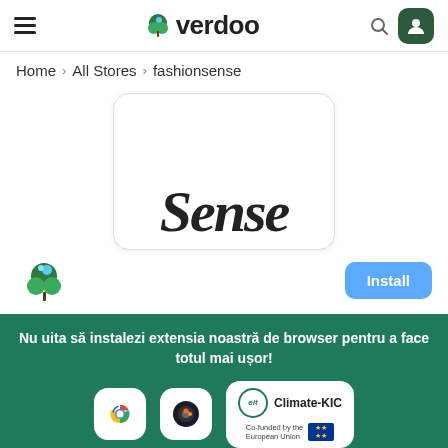[Figure (logo): Verdoo website navigation bar with hamburger menu, Verdoo logo (leaf icon + 'verdoo' text), search icon, and user account button]
Home  >  All Stores  >  fashionsense
[Figure (screenshot): Store card for fashionsense showing cursive 'Sense' text on white rounded card]
[Figure (logo): Verdoo leaf logo floating on left with Install button on right]
Nu uita să instalezi extensia noastră de browser pentru a face totul mai ușor!
[Figure (logo): Browser extension logos: Chrome (blue spiral), Firefox (dark), and EIT Climate-KIC Co-funded by the European Union badge]